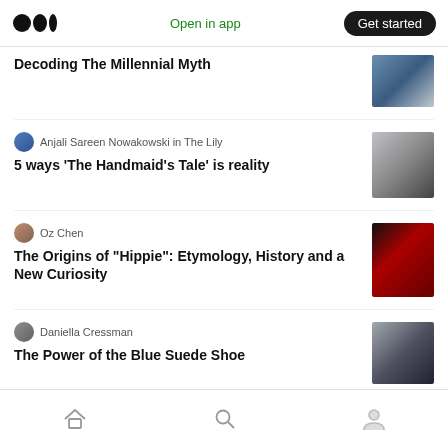Medium logo | Open in app | Get started
Decoding The Millennial Myth
Anjali Sareen Nowakowski in The Lily
5 ways 'The Handmaid's Tale' is reality
Oz Chen
The Origins of "Hippie": Etymology, History and a New Curiosity
Daniella Cressman
The Power of the Blue Suede Shoe
Home | Search | Profile